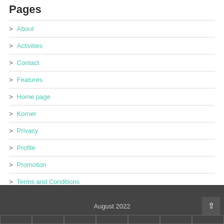Pages
> About
> Activities
> Contact
> Features
> Home page
> Korner
> Privacy
> Profile
> Promotion
> Terms and Conditions
August 2022